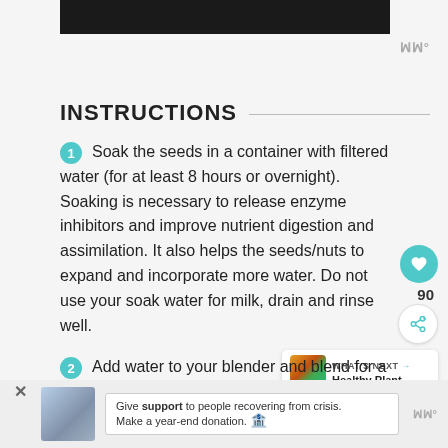[Figure (photo): Black banner image at top]
WW°
INSTRUCTIONS
Soak the seeds in a container with filtered water (for at least 8 hours or overnight). Soaking is necessary to release enzyme inhibitors and improve nutrient digestion and assimilation. It also helps the seeds/nuts to expand and incorporate more water. Do not use your soak water for milk, drain and rinse well.
Add water to your blender and blend for a minute until creamy, aproximately 1 – 2
[Figure (infographic): What's Next panel with Healthy Plant Based article thumbnail]
[Figure (photo): Advertisement banner with photo of person, text: Give support to people recovering from crisis. Make a year-end donation.]
WW°